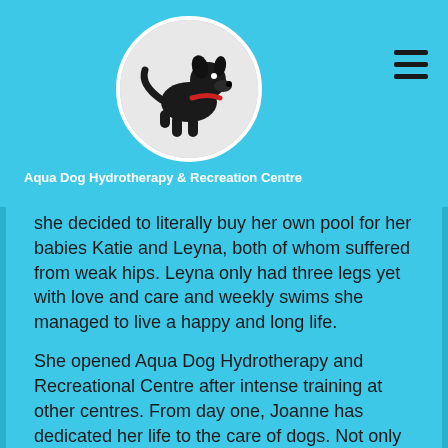Aqua Dog Hydrotherapy & Recreation Centre
[Figure (photo): Circular logo with a black dog on a white/light background]
she decided to literally buy her own pool for her babies Katie and Leyna, both of whom suffered from weak hips. Leyna only had three legs yet with love and care and weekly swims she managed to live a happy and long life.
She opened Aqua Dog Hydrotherapy and Recreational Centre after intense training at other centres. From day one, Joanne has dedicated her life to the care of dogs. Not only does she strive to make hydrotherapy as affordable as possible, she is constantly researching ways to rejuvenate the industry to make it even better!